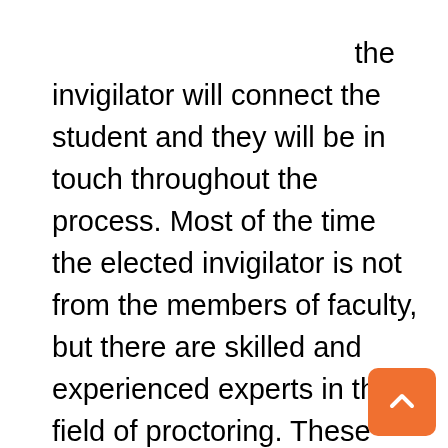should not break in the middle. Through video, the invigilator will connect the student and they will be in touch throughout the process. Most of the time the elected invigilator is not from the members of faculty, but there are skilled and experienced experts in the field of proctoring. These experts follow an exceedingly strict way of online exams and interviews. Guidelines of the forthcoming interview are provided and cheating is strictly prohibited. The professionals have the ability to go through one's mind just while taking their interview, they are remarkably skilled, which makes it impossible for the other person to cheat.
The talent of the experts makes the process very helpful for the people. Frequently it is not